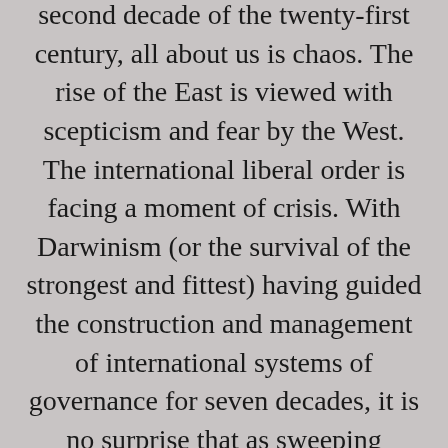second decade of the twenty-first century, all about us is chaos. The rise of the East is viewed with scepticism and fear by the West. The international liberal order is facing a moment of crisis. With Darwinism (or the survival of the strongest and fittest) having guided the construction and management of international systems of governance for seven decades, it is no surprise that as sweeping change overtakes the world, there are no longer many takers for these arrangements. Globalization is confronted by economic nationalism. Strong leaders are exploiting the grievances of citizens (whether imagined or